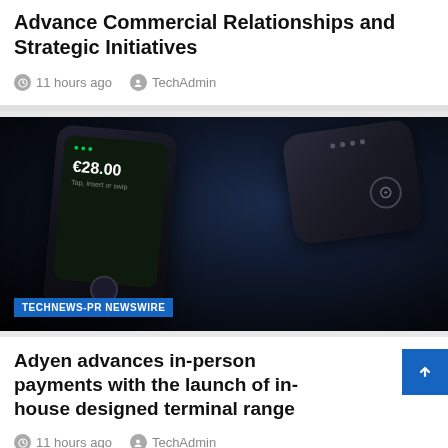Advance Commercial Relationships and Strategic Initiatives
11 hours ago   TechAdmin
[Figure (photo): Two dark Adyen payment terminals against a dark blue/black background. The front device is a smartphone-style terminal showing €28.00 on screen. The back device is a compact rounded rectangle terminal with dots and a logo. A blue badge reads TECHNEWS-PR NEWSWIRE.]
Adyen advances in-person payments with the launch of in-house designed terminal range
11 hours ago   TechAdmin